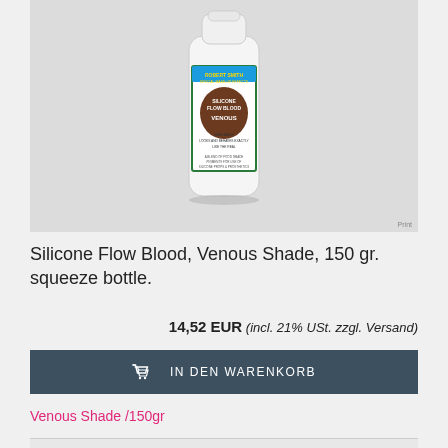[Figure (photo): White squeeze bottle with Robert Smith Special Make-Up Effects label showing Silicone Flow Blood Venous Shade, 150ml, on a light grey background]
Silicone Flow Blood, Venous Shade, 150 gr. squeeze bottle.
14,52 EUR (incl. 21% USt. zzgl. Versand)
IN DEN WARENKORB
Venous Shade /150gr